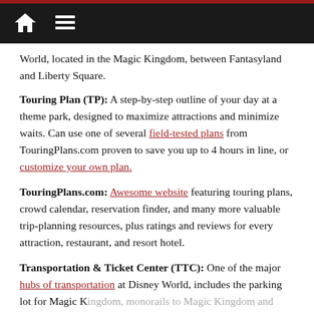[home icon] [menu icon]
World, located in the Magic Kingdom, between Fantasyland and Liberty Square.
Touring Plan (TP): A step-by-step outline of your day at a theme park, designed to maximize attractions and minimize waits. Can use one of several field-tested plans from TouringPlans.com proven to save you up to 4 hours in line, or customize your own plan.
TouringPlans.com: Awesome website featuring touring plans, crowd calendar, reservation finder, and many more valuable trip-planning resources, plus ratings and reviews for every attraction, restaurant, and resort hotel.
Transportation & Ticket Center (TTC): One of the major hubs of transportation at Disney World, includes the parking lot for Magic Kingdom, monorails to Magic Kingdom and EPCOT, monorail service to select Disney resort hotels, and ferry service